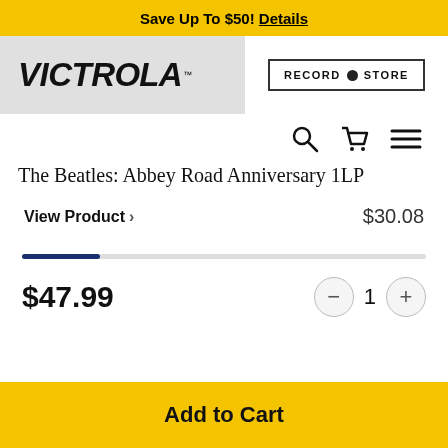Save Up To $50! Details
[Figure (logo): Victrola brand logo in bold italic text]
[Figure (other): Record Store button with circle icon]
[Figure (other): Navigation icons: search, shopping cart, hamburger menu]
The Beatles: Abbey Road Anniversary 1LP
View Product > $30.08
$47.99
1
Add to Cart